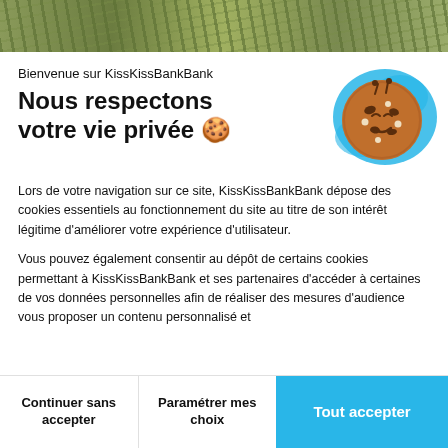[Figure (photo): Top photo strip showing outdoor nature scene with dry grassy/rocky terrain and trees in background]
Bienvenue sur KissKissBankBank
Nous respectons votre vie privée 🍪
[Figure (illustration): Cookie illustration — brown chocolate chip cookie with a smiley face on a blue paint splash background]
Lors de votre navigation sur ce site, KissKissBankBank dépose des cookies essentiels au fonctionnement du site au titre de son intérêt légitime d'améliorer votre expérience d'utilisateur.
Vous pouvez également consentir au dépôt de certains cookies permettant à KissKissBankBank et ses partenaires d'accéder à certaines de vos données personnelles afin de réaliser des mesures d'audience vous proposer un contenu personnalisé et
Continuer sans accepter
Paramétrer mes choix
Tout accepter